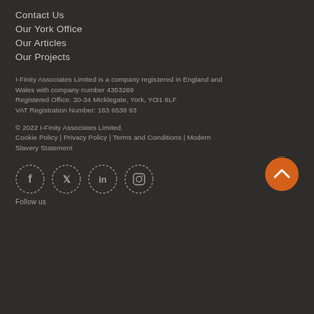Contact Us
Our York Office
Our Articles
Our Projects
I-Finity Associates Limited is a company registered in England and Wales with company number 4353269
Registered Office: 30-34 Micklegate, York, YO1 6LF
VAT Registration Number: 163 6538 93
© 2022 I-Finity Associates Limited.
Cookie Policy | Privacy Policy | Terms and Conditions | Modern Slavery Statement
[Figure (other): Social media icons in dotted circles: Facebook, Twitter, LinkedIn, Instagram. Orange back-to-top button with chevron.]
Follow us